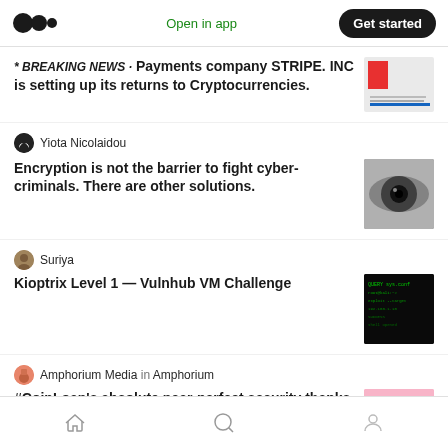Medium — Open in app  Get started
BREAKING NEWS · Payments company STRIPE. INC is setting up its returns to Cryptocurrencies.
Yiota Nicolaidou
Encryption is not the barrier to fight cyber-criminals. There are other solutions.
Suriya
Kioptrix Level 1 — Vulnhub VM Challenge
Amphorium Media in Amphorium
#CoinLoan's absolute near-perfect security thanks to a collaboration with...
Home  Search  Profile